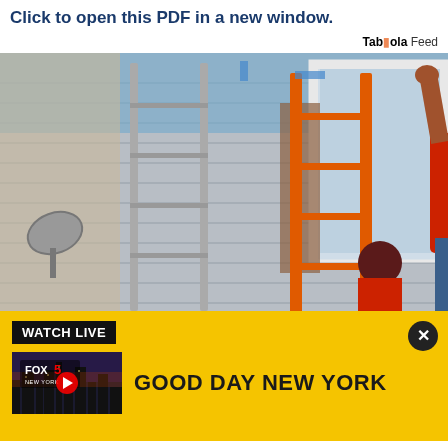Click to open this PDF in a new window.
Taboola Feed
[Figure (photo): Workers installing a large window on the exterior of a house. A person in a red shirt and jeans is lifting the window frame with arms raised. An orange ladder is visible in the foreground. Another person is crouching below. Gray siding on the house is visible.]
WATCH LIVE
[Figure (screenshot): FOX 5 New York thumbnail image showing a city skyline at dusk with the FOX 5 NEW YORK logo and a YouTube play button.]
GOOD DAY NEW YORK